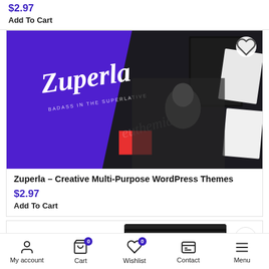$2.97
Add To Cart
[Figure (screenshot): Zuperla Creative Multi-Purpose WordPress Theme promotional banner with purple background, white script logo text, dark overlay with person wearing sunglasses, and white mockup pages on the right]
Zuperla – Creative Multi-Purpose WordPress Themes
$2.97
Add To Cart
[Figure (screenshot): Partial view of NARRATION theme product card showing theme name in serif letters and laptop mockup]
My account   Cart 0   Wishlist 0   Contact   Menu